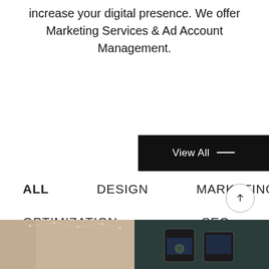increase your digital presence. We offer Marketing Services & Ad Account Management.
View All →
ALL
DESIGN
MARKETING
OPTIMIZATION
SEO
[Figure (photo): Bottom strip showing two photos side by side: left photo with hanging string lights in a warm interior, right photo showing a dark screen/device display.]